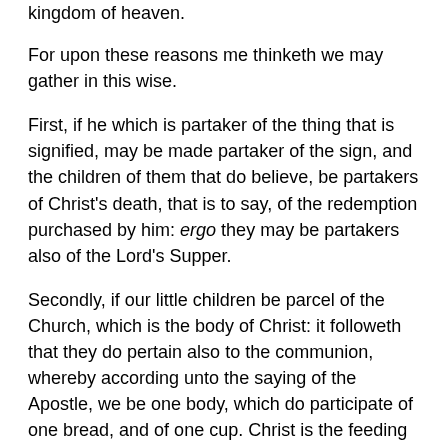kingdom of heaven.
For upon these reasons me thinketh we may gather in this wise.
First, if he which is partaker of the thing that is signified, may be made partaker of the sign, and the children of them that do believe, be partakers of Christ's death, that is to say, of the redemption purchased by him: ergo they may be partakers also of the Lord's Supper.
Secondly, if our little children be parcel of the Church, which is the body of Christ: it followeth that they do pertain also to the communion, whereby according unto the saying of the Apostle, we be one body, which do participate of one bread, and of one cup. Christ is the feeding of his whole body, ergo of our children also. Wherefore like as the little children of the Jews did appertain to the Passover, the Sacrament of their redemption, as well as their parents: So our children also do as well belong unto the sacrament of our new Passover, as we.
Thirdly, if Christ did vouchsafe to have children come unto him to embrace them, to lay hands upon them, and bless them, how shall we judge them so that admitted...